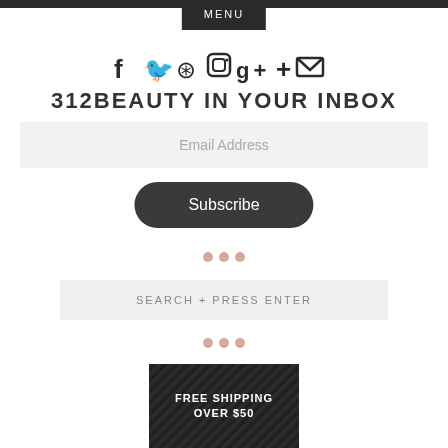MENU
[Figure (infographic): Social media icons: Facebook, Twitter, Pinterest, Instagram, Google+, Plus, Email]
312BEAUTY IN YOUR INBOX
Email Address
Subscribe
[Figure (other): Three decorative dots in pink/beige color]
SEARCH + PRESS ENTER
[Figure (other): Three decorative dots in pink/beige color]
[Figure (infographic): Promotional banner with dark textured background reading FREE SHIPPING OVER $50]